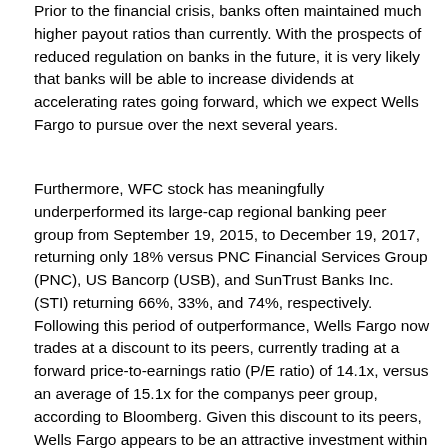Prior to the financial crisis, banks often maintained much higher payout ratios than currently. With the prospects of reduced regulation on banks in the future, it is very likely that banks will be able to increase dividends at accelerating rates going forward, which we expect Wells Fargo to pursue over the next several years.
Furthermore, WFC stock has meaningfully underperformed its large-cap regional banking peer group from September 19, 2015, to December 19, 2017, returning only 18% versus PNC Financial Services Group (PNC), US Bancorp (USB), and SunTrust Banks Inc. (STI) returning 66%, 33%, and 74%, respectively. Following this period of outperformance, Wells Fargo now trades at a discount to its peers, currently trading at a forward price-to-earnings ratio (P/E ratio) of 14.1x, versus an average of 15.1x for the companys peer group, according to Bloomberg. Given this discount to its peers, Wells Fargo appears to be an attractive investment within the regional banking industry.